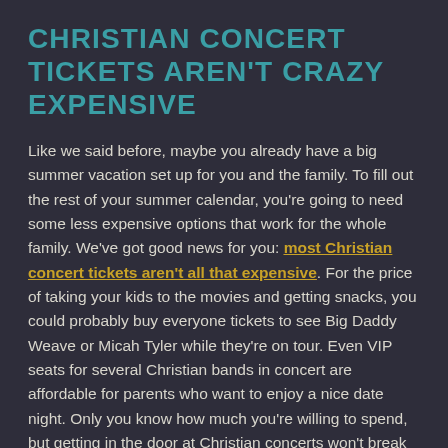CHRISTIAN CONCERT TICKETS AREN'T CRAZY EXPENSIVE
Like we said before, maybe you already have a big summer vacation set up for you and the family. To fill out the rest of your summer calendar, you're going to need some less expensive options that work for the whole family. We've got good news for you: most Christian concert tickets aren't all that expensive. For the price of taking your kids to the movies and getting snacks, you could probably buy everyone tickets to see Big Daddy Weave or Micah Tyler while they're on tour. Even VIP seats for several Christian bands in concert are affordable for parents who want to enjoy a nice date night. Only you know how much you're willing to spend, but getting in the door at Christian concerts won't break the bank.